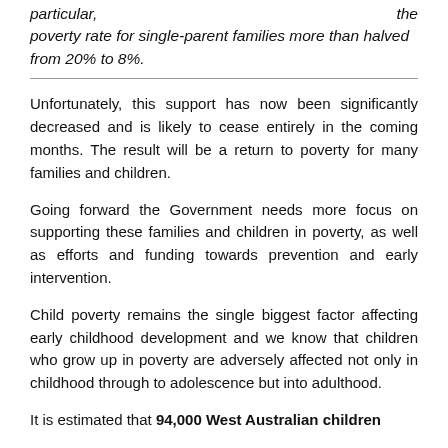particular, ... the poverty rate for single-parent families more than halved from 20% to 8%.
Unfortunately, this support has now been significantly decreased and is likely to cease entirely in the coming months. The result will be a return to poverty for many families and children.
Going forward the Government needs more focus on supporting these families and children in poverty, as well as efforts and funding towards prevention and early intervention.
Child poverty remains the single biggest factor affecting early childhood development and we know that children who grow up in poverty are adversely affected not only in childhood through to adolescence but into adulthood.
It is estimated that 94,000 West Australian children